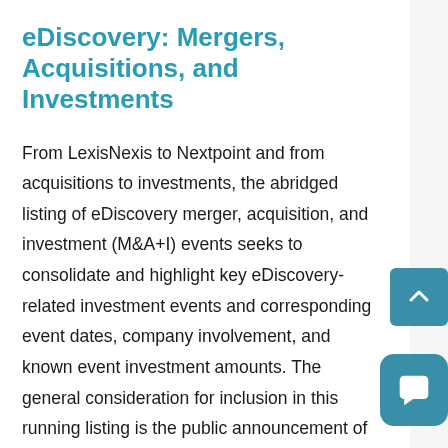eDiscovery: Mergers, Acquisitions, and Investments
From LexisNexis to Nextpoint and from acquisitions to investments, the abridged listing of eDiscovery merger, acquisition, and investment (M&A+I) events seeks to consolidate and highlight key eDiscovery-related investment events and corresponding event dates, company involvement, and known event investment amounts. The general consideration for inclusion in this running listing is the public announcement of an investment event by an organization that offers an eDiscovery solution as part of their overall offering portfolio regardless of their core business.